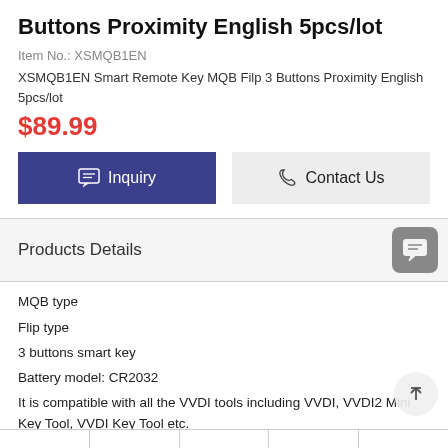Buttons Proximity English 5pcs/lot
Item No.: XSMQB1EN
XSMQB1EN Smart Remote Key MQB Filp 3 Buttons Proximity English 5pcs/lot
$89.99
Inquiry
Contact Us
Products Details
MQB type
Flip type
3 buttons smart key
Battery model: CR2032
It is compatible with all the VVDI tools including VVDI, VVDI2 Mini Key Tool, VVDI Key Tool etc.
VVDI Remote Key Difference: